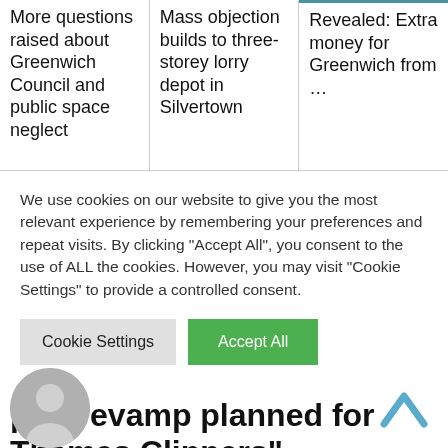More questions raised about Greenwich Council and public space neglect
Mass objection builds to three-storey lorry depot in Silvertown
Revealed: Extra money for Greenwich from …
We use cookies on our website to give you the most relevant experience by remembering your preferences and repeat visits. By clicking “Accept All”, you consent to the use of ALL the cookies. However, you may visit “Cookie Settings” to provide a controlled consent.
Cookie Settings
Accept All
pier revamp planned for Thames Clippers”
[Figure (illustration): Circular grey avatar/user profile icon at bottom left]